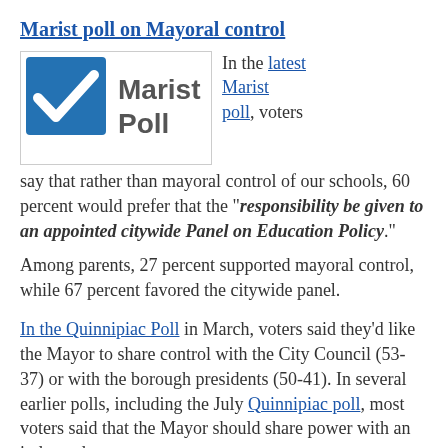Marist poll on Mayoral control
[Figure (logo): Marist Poll logo — blue checkbox square with white checkmark and grey text 'Marist Poll']
In the latest Marist poll, voters say that rather than mayoral control of our schools, 60 percent would prefer that the "responsibility be given to an appointed citywide Panel on Education Policy."
Among parents, 27 percent supported mayoral control, while 67 percent favored the citywide panel.
In the Quinnipiac Poll in March, voters said they'd like the Mayor to share control with the City Council (53-37) or with the borough presidents (50-41). In several earlier polls, including the July Quinnipiac poll, most voters said that the Mayor should share power with an independent board. The Quinnipiac also reported that